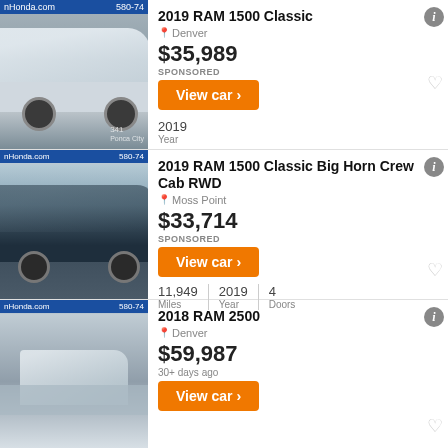[Figure (photo): White RAM 1500 Classic truck parked at dealership with blue Honda dealer banner visible at top]
2019 RAM 1500 Classic
Denver
$35,989
SPONSORED
View car
2019
Year
[Figure (photo): Dark navy/black RAM 1500 Classic Big Horn Crew Cab RWD truck parked in lot with trees in background]
2019 RAM 1500 Classic Big Horn Crew Cab RWD
Moss Point
$33,714
SPONSORED
View car
11,949 Miles
2019 Year
4 Doors
[Figure (photo): Partial view of 2018 RAM 2500 at dealership with Honda dealer banner at top]
2018 RAM 2500
Denver
$59,987
30+ days ago
View car